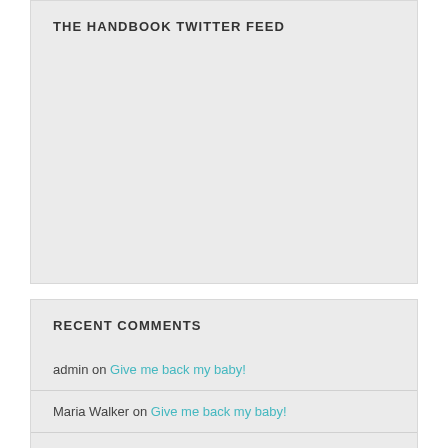THE HANDBOOK TWITTER FEED
RECENT COMMENTS
admin on Give me back my baby!
Maria Walker on Give me back my baby!
ferahtia.FS on The Kids Are Alright
omalone1 on Education is a system of imposed